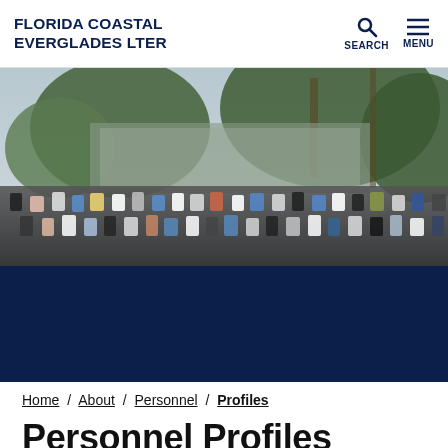FLORIDA COASTAL EVERGLADES LTER
[Figure (photo): Large group photo of many people standing outside in front of a building with tropical trees and foliage in the background.]
Home / About / Personnel / Profiles
Personnel Profiles